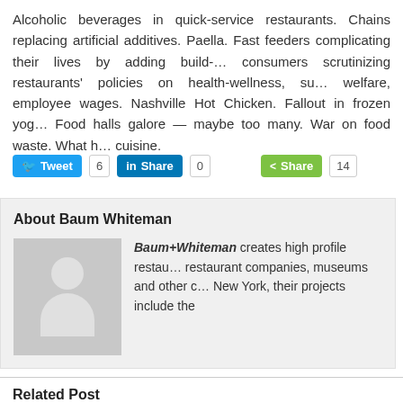Alcoholic beverages in quick-service restaurants. Chains replacing artificial additives. Paella. Fast feeders complicating their lives by adding build-… consumers scrutinizing restaurants' policies on health-wellness, su… welfare, employee wages. Nashville Hot Chicken. Fallout in frozen yog… Food halls galore — maybe too many. War on food waste. What h… cuisine.
Tweet 6  Share 0  Share 14
About Baum Whiteman
Baum+Whiteman creates high profile restau… restaurant companies, museums and other c… New York, their projects include the
Related Post